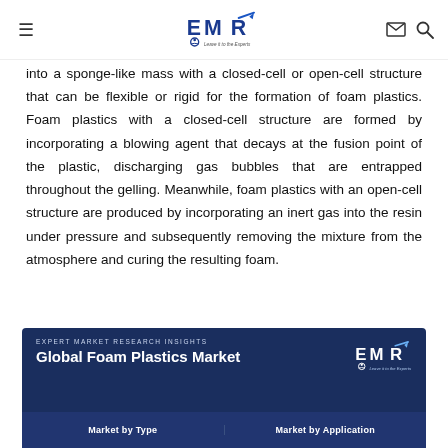EMR - Expert Market Research
into a sponge-like mass with a closed-cell or open-cell structure that can be flexible or rigid for the formation of foam plastics. Foam plastics with a closed-cell structure are formed by incorporating a blowing agent that decays at the fusion point of the plastic, discharging gas bubbles that are entrapped throughout the gelling. Meanwhile, foam plastics with an open-cell structure are produced by incorporating an inert gas into the resin under pressure and subsequently removing the mixture from the atmosphere and curing the resulting foam.
[Figure (infographic): Expert Market Research Insights banner for Global Foam Plastics Market, showing 'Market by Type' and 'Market by Application' sections with EMR logo on dark blue background.]